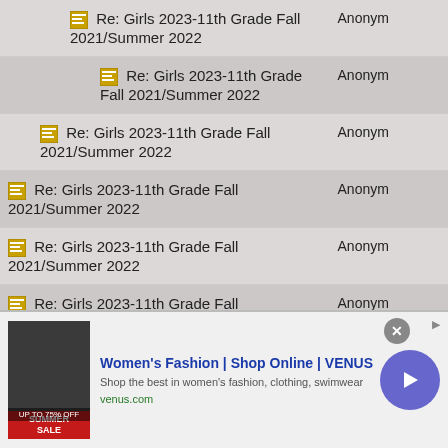| Title | Author |
| --- | --- |
| Re: Girls 2023-11th Grade Fall 2021/Summer 2022 | Anonym |
| Re: Girls 2023-11th Grade Fall 2021/Summer 2022 | Anonym |
| Re: Girls 2023-11th Grade Fall 2021/Summer 2022 | Anonym |
| Re: Girls 2023-11th Grade Fall 2021/Summer 2022 | Anonym |
| Re: Girls 2023-11th Grade Fall 2021/Summer 2022 | Anonym |
| Re: Girls 2023-11th Grade Fall 2021/Summer 2022 | Anonym |
| Re: Girls 2023-11th Grade Fall 2021/Summer 2022 | Anonym |
| Re: Girls 2023-11th Grade Fall 2021/Summer 2022 | Anonym |
| Re: Girls 2023-11th Grade Fall 2021/Summer 2022 | Anonym |
[Figure (other): Advertisement banner for Women's Fashion | Shop Online | VENUS. Shows promotional image with Summer Sale text, brand name, tagline 'Shop the best in women's fashion, clothing, swimwear', URL venus.com, close button, and navigation arrow.]